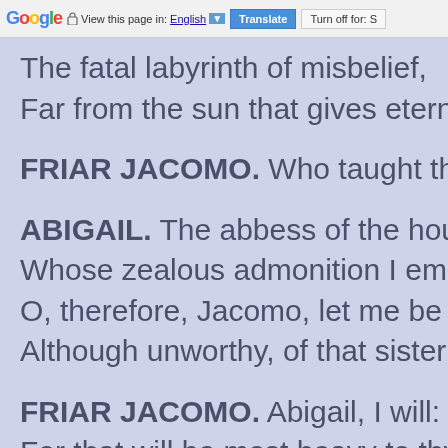Google  View this page in: English [▼]  Translate  Turn off for: S
The fatal labyrinth of misbelief,
Far from the sun that gives eternal li
FRIAR JACOMO. Who taught thee t
ABIGAIL. The abbess of the house,
Whose zealous admonition I embrac
O, therefore, Jacomo, let me be one
Although unworthy, of that sisterhoo
FRIAR JACOMO. Abigail, I will:  but
For that will be most heavy to thy so